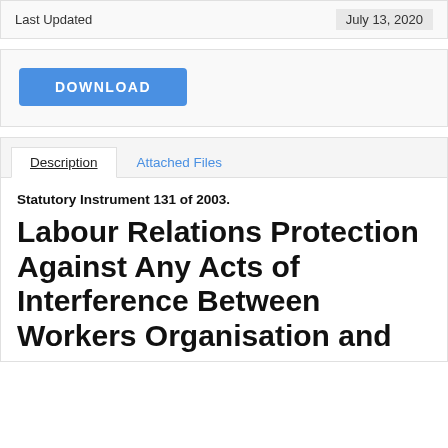Last Updated
July 13, 2020
DOWNLOAD
Description
Attached Files
Statutory Instrument 131 of 2003.
Labour Relations Protection Against Any Acts of Interference Between Workers Organisation and